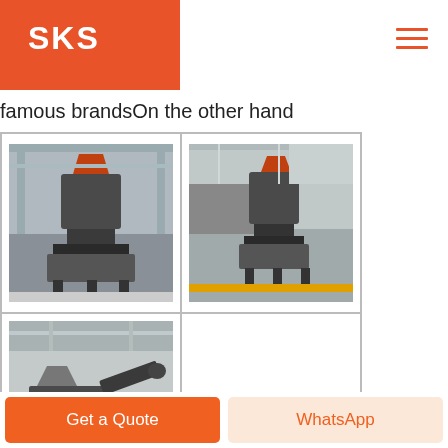SKS
famous brandsOn the other hand
[Figure (photo): Three photos of industrial crushers/mills in a factory setting arranged in a 2x2 grid (third cell empty). Top-left and top-right show vertical cone crushers, bottom-left shows a mobile crushing machine.]
Used crushers ads for sale Mascus UK